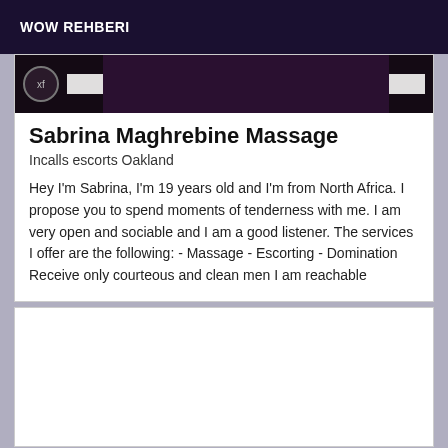WOW REHBERI
[Figure (photo): Dark header image area with xf badge and placeholder image areas]
Sabrina Maghrebine Massage
Incalls escorts Oakland
Hey I'm Sabrina, I'm 19 years old and I'm from North Africa. I propose you to spend moments of tenderness with me. I am very open and sociable and I am a good listener. The services I offer are the following: - Massage - Escorting - Domination Receive only courteous and clean men I am reachable